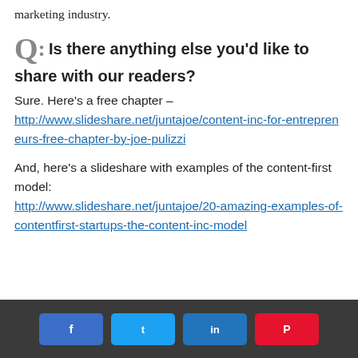marketing industry.
Q: Is there anything else you'd like to share with our readers?
Sure. Here's a free chapter – http://www.slideshare.net/juntajoe/content-inc-for-entrepreneurs-free-chapter-by-joe-pulizzi
And, here's a slideshare with examples of the content-first model: http://www.slideshare.net/juntajoe/20-amazing-examples-of-contentfirst-startups-the-content-inc-model
Social sharing buttons: Facebook, Twitter, LinkedIn, Pinterest